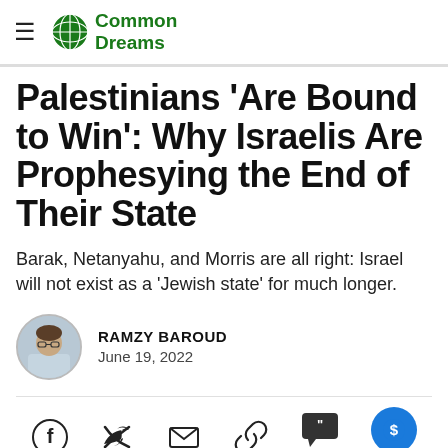Common Dreams
Palestinians 'Are Bound to Win': Why Israelis Are Prophesying the End of Their State
Barak, Netanyahu, and Morris are all right: Israel will not exist as a 'Jewish state' for much longer.
RAMZY BAROUD
June 19, 2022